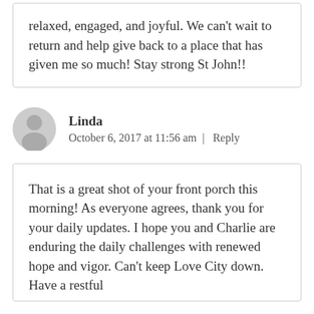relaxed, engaged, and joyful. We can't wait to return and help give back to a place that has given me so much! Stay strong St John!!
Linda
October 6, 2017 at 11:56 am | Reply
That is a great shot of your front porch this morning! As everyone agrees, thank you for your daily updates. I hope you and Charlie are enduring the daily challenges with renewed hope and vigor. Can't keep Love City down. Have a restful